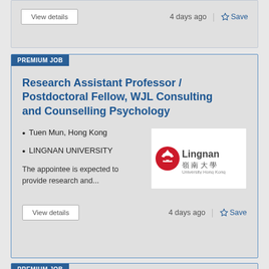View details
4 days ago | Save
PREMIUM JOB
Research Assistant Professor / Postdoctoral Fellow, WJL Consulting and Counselling Psychology
Tuen Mun, Hong Kong
LINGNAN UNIVERSITY
[Figure (logo): Lingnan University logo with red circular emblem and Chinese characters 嶺南大學]
The appointee is expected to provide research and...
View details
4 days ago | Save
PREMIUM JOB
Senior Lecturer / Lecturer, Geography